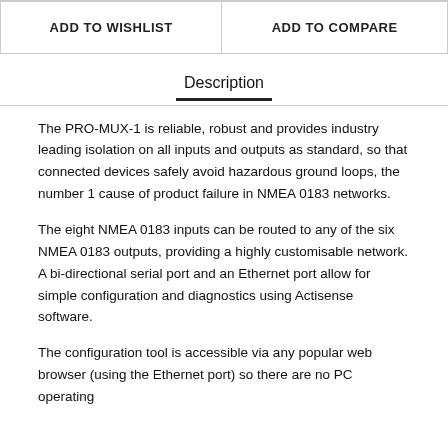| ADD TO WISHLIST | ADD TO COMPARE |
Description
The PRO-MUX-1 is reliable, robust and provides industry leading isolation on all inputs and outputs as standard, so that connected devices safely avoid hazardous ground loops, the number 1 cause of product failure in NMEA 0183 networks.
The eight NMEA 0183 inputs can be routed to any of the six NMEA 0183 outputs, providing a highly customisable network. A bi-directional serial port and an Ethernet port allow for simple configuration and diagnostics using Actisense software.
The configuration tool is accessible via any popular web browser (using the Ethernet port) so there are no PC operating